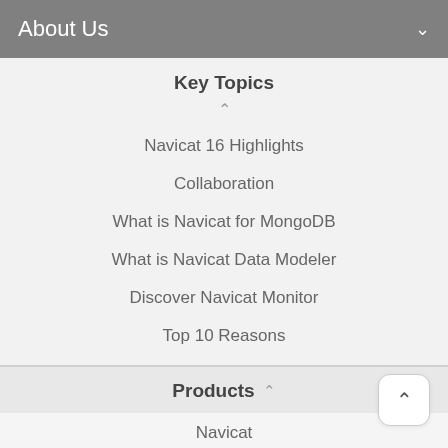About Us
Key Topics
Navicat 16 Highlights
Collaboration
What is Navicat for MongoDB
What is Navicat Data Modeler
Discover Navicat Monitor
Top 10 Reasons
Products
Navicat
Navicat Collaboration
Navicat Charts
Navicat Monitor